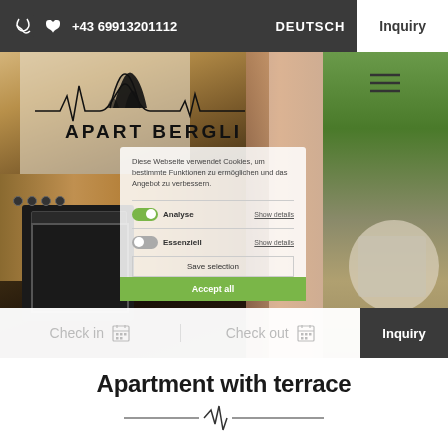+43 69913201112   DEUTSCH   Inquiry
[Figure (screenshot): Website screenshot of Apart Bergli accommodation page showing kitchen interior on left, outdoor terrace on right, with Apart Bergli logo overlay, hamburger menu icon, and a cookie consent dialog with Analyse and Essenziell toggles, Save selection and Accept all buttons. Bottom booking bar with Check in, Check out fields and Inquiry button.]
Apartment with terrace
[Figure (illustration): Decorative heartbeat/mountain line divider graphic]